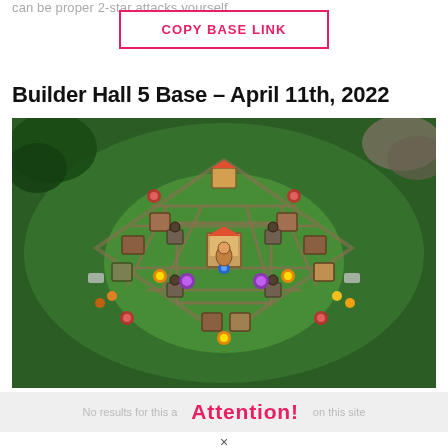can be proper 2-star attacks yourself.
COPY BASE LINK
Builder Hall 5 Base – April 11th, 2022
[Figure (screenshot): Screenshot of a Builder Hall 5 base layout from Clash of Clans mobile game, showing an isometric view of a diamond-shaped fortified base with various buildings, walls, and defensive structures on a green grass map.]
Attention!